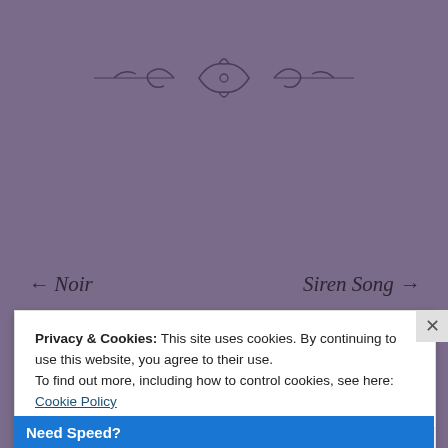[Figure (illustration): Decorative ornamental divider with scrollwork and flourish design on purple background]
← Noir
Siren Song →
43 thoughts on “Just So”
Privacy & Cookies: This site uses cookies. By continuing to use this website, you agree to their use.
To find out more, including how to control cookies, see here: Cookie Policy
Close and accept
Need Speed?